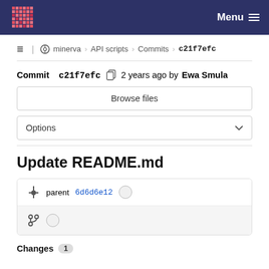minerva > API scripts > Commits > c21f7efc  Menu
Commit c21f7efc  2 years ago by Ewa Smula
Browse files
Options
Update README.md
parent 6d6d6e12
Changes 1